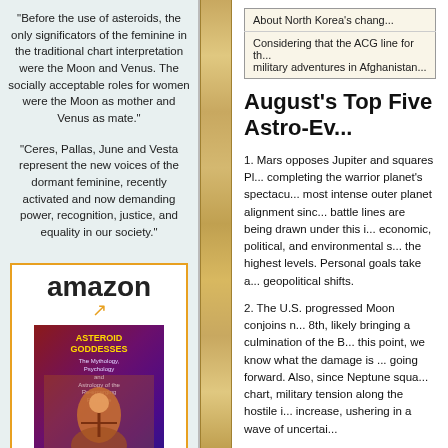"Before the use of asteroids, the only significators of the feminine in the traditional chart interpretation were the Moon and Venus. The socially acceptable roles for women were the Moon as mother and Venus as mate."
"Ceres, Pallas, June and Vesta represent the new voices of the dormant feminine, recently activated and now demanding power, recognition, justice, and equality in our society."
[Figure (other): Amazon advertisement showing book 'Asteroid Goddesses' by Demetra George & Douglas Bloch, priced at $16.49 with Prime shipping]
| About North Korea's chang... |
| Considering that the ACG line for th... military adventures in Afghanistan... |
August's Top Five Astro-Ev...
1. Mars opposes Jupiter and squares Pl... completing the warrior planet's spectacu... most intense outer planet alignment sinc... battle lines are being drawn under this i... economic, political, and environmental s... the highest levels. Personal goals take a... geopolitical shifts.
2. The U.S. progressed Moon conjoins n... 8th, likely bringing a culmination of the B... this point, we know what the damage is ... going forward. Also, since Neptune squa... chart, military tension along the hostile i... increase, ushering in a wave of uncertai...
3. Venus conjoins Mars on the 20th, but... are a major influence from the 8th to 30...